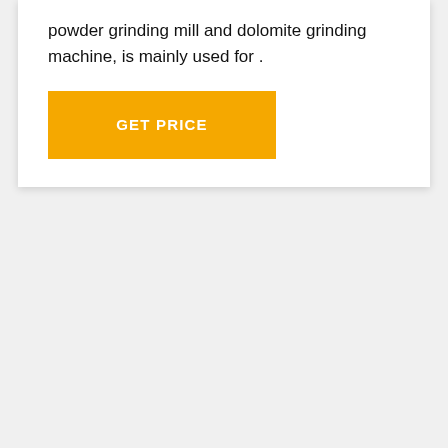powder grinding mill and dolomite grinding machine, is mainly used for .
GET PRICE